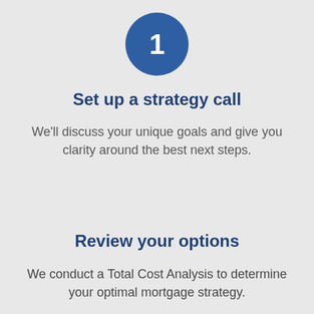[Figure (infographic): Blue circle with white number 1 inside]
Set up a strategy call
We'll discuss your unique goals and give you clarity around the best next steps.
Review your options
We conduct a Total Cost Analysis to determine your optimal mortgage strategy.